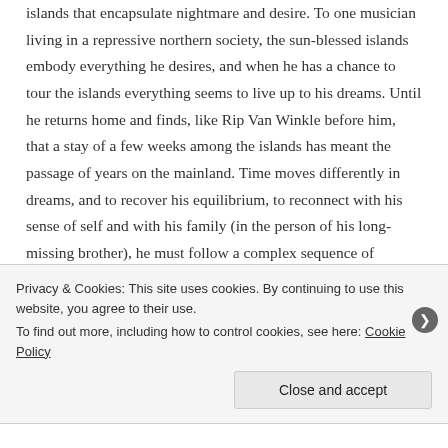islands that encapsulate nightmare and desire. To one musician living in a repressive northern society, the sun-blessed islands embody everything he desires, and when he has a chance to tour the islands everything seems to live up to his dreams. Until he returns home and finds, like Rip Van Winkle before him, that a stay of a few weeks among the islands has meant the passage of years on the mainland. Time moves differently in dreams, and to recover his equilibrium, to reconnect with his sense of self and with his family (in the person of his long-missing brother), he must follow a complex sequence of spiralling movements dictated by the wooden stave that he carries and that perhaps resemble the
Privacy & Cookies: This site uses cookies. By continuing to use this website, you agree to their use.
To find out more, including how to control cookies, see here: Cookie Policy
Close and accept